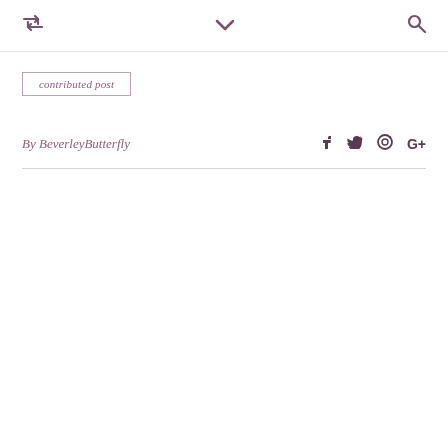retweet icon | chevron down | search icon
contributed post
By BeverleyButterfly